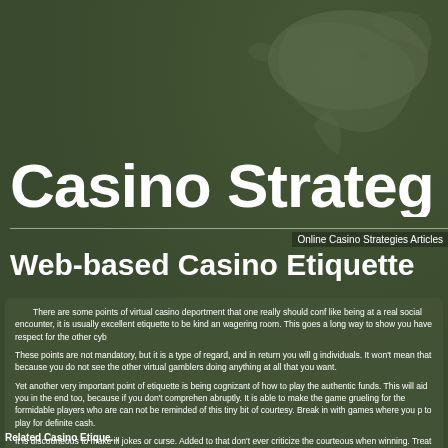Casino Strateg
Online Casino Strategies Articles
Web-based Casino Etiquette
There are some points of virtual casino deportment that one really should conf like being at a real social encounter, it is usually excellent etiquette to be kind an wagering room. This goes a long way to show you have respect for the other cyb
These points are not mandatory, but it is a type of regard, and in return you will g individuals. It won't mean that because you do not see the other virtual gamblers doing anything at all that you want.
Yet another very important point of etiquette is being cognizant of how to play the authentic funds. This will aid you in the end too, because if you don't comprehen abruptly. It is able to make the game grueling for the formidable players who are can not be reminded of this tiny bit of courtesy. Break in with games where you p to play for definite cash.
It is discourteous to make ill jokes or curse. Added to that don't ever criticize the courteous when winning. Treat everyone the same way you would like to be trea
Should you make a decision to fold while playing, don't ever discuss what you ha game for the others at the table. Please retain that several virtual casino online s required to comply with when it is your turn to play. It is suggested that you make flow of the game…
Related Casino Etique...